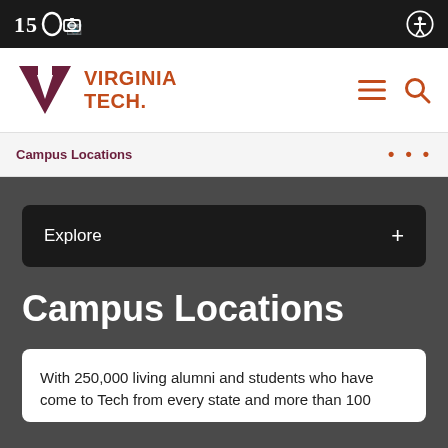150 [anniversary logo]
[Figure (logo): Virginia Tech logo with VT monogram and wordmark in burgundy and orange]
Campus Locations
Explore
Campus Locations
With 250,000 living alumni and students who have come to Tech from every state and more than 100